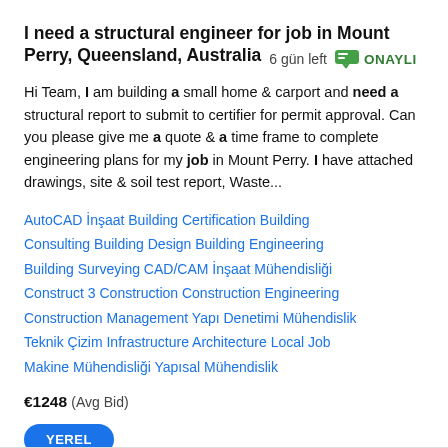I need a structural engineer for job in Mount Perry, Queensland, Australia  6 gün left  ONAYLI
Hi Team, I am building a small home & carport and need a structural report to submit to certifier for permit approval. Can you please give me a quote & a time frame to complete engineering plans for my job in Mount Perry. I have attached drawings, site & soil test report, Waste...
AutoCAD  İnşaat  Building Certification  Building Consulting  Building Design  Building Engineering  Building Surveying  CAD/CAM  İnşaat Mühendisliği  Construct 3  Construction  Construction Engineering  Construction Management  Yapı Denetimi  Mühendislik  Teknik Çizim  Infrastructure Architecture  Local Job  Makine Mühendisliği  Yapısal Mühendislik
€1248  (Avg Bid)
YEREL